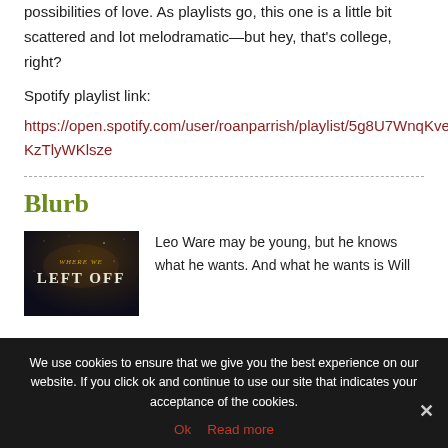possibilities of love. As playlists go, this one is a little bit scattered and lot melodramatic—but hey, that's college, right?
Spotify playlist link:
https://open.spotify.com/user/roanparrish/playlist/5g8U7WnqKveKzTlyWKlsze
Blurb
[Figure (illustration): Book cover for 'Where We Left Off' with dark space-like background and gold/white text]
Leo Ware may be young, but he knows what he wants. And what he wants is Will
We use cookies to ensure that we give you the best experience on our website. If you click ok and continue to use our site that indicates your acceptance of the cookies.